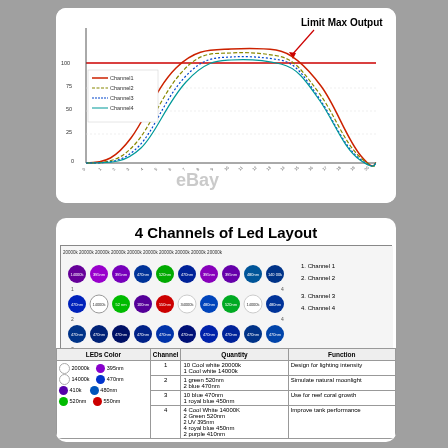[Figure (continuous-plot): Line chart showing 4 channels of LED light output over time (hours), with a horizontal red 'Limit Max Output' line. Channels 1-4 shown as bell-curve shaped lines peaking midday.]
4 Channels of Led Layout
[Figure (schematic): Grid diagram showing LED layout across 4 channels with colored circles representing different LED wavelengths (20000k, 14000k, 410nm, 470nm, 480nm, 520nm, 550nm, 395nm) arranged in rows with channel numbers 1-4 labeled on the right side.]
| LEDs Color | Channel | Quantity | Function |
| --- | --- | --- | --- |
| 20000k / 395nm | 14000k / 470nm | 410k / 480nm | 520nm / 550nm | 1 | 10 Cool white 20000k
1 Cool white 14000k | Design for lighting intensity |
|  | 2 | 1 green 520nm
2 blue 470nm | Simulate natural moonlight |
|  | 3 | 10 blue 470nm
1 royal blue 450nm | Use for reef coral growth |
|  | 4 | 4 Cool White 14000K
2 Green 520nm
2 UV 395nm
4 royal blue 450nm
2 purple 410nm | Improve tank performance |